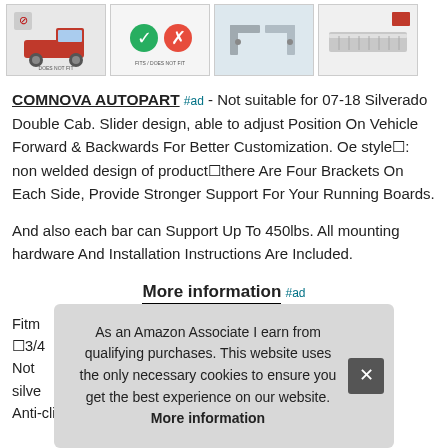[Figure (photo): Row of four product thumbnail images: red truck, compatibility check/x chart, bracket hardware, silver running board]
COMNOVA AUTOPART #ad - Not suitable for 07-18 Silverado Double Cab. Slider design, able to adjust Position On Vehicle Forward & Backwards For Better Customization. Oe styleâ: non welded design of productâthere Are Four Brackets On Each Side, Provide Stronger Support For Your Running Boards.
And also each bar can Support Up To 450lbs. All mounting hardware And Installation Instructions Are Included.
More information #ad
Fitm â3/4… Not… silve… Anti-clip Plastic Steps
As an Amazon Associate I earn from qualifying purchases. This website uses the only necessary cookies to ensure you get the best experience on our website. More information